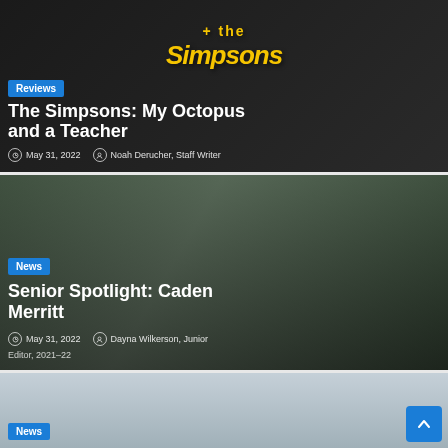[Figure (screenshot): Article card with Simpsons logo background, dark theme, showing review article]
Reviews
The Simpsons: My Octopus and a Teacher
May 31, 2022  Noah Derucher, Staff Writer
[Figure (photo): Article card with photo of marching band students in caps, dark photo overlay]
News
Senior Spotlight: Caden Merritt
May 31, 2022  Dayna Wilkerson, Junior Editor, 2021-22
[Figure (photo): Partial article card showing a building/stadium photo with cloudy sky]
News